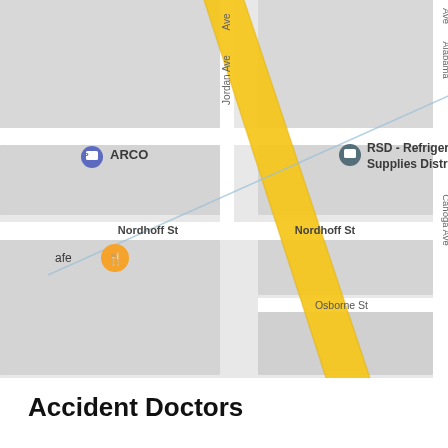[Figure (map): Google Maps screenshot showing an area in West Hills/Chatsworth area of Los Angeles. Features a diagonal yellow highway/freeway running through the center-left. Key locations labeled include: RSD - Refrigeration Supplies Distributor, ARCO gas station, Advanced Integration Partners, EXCEL DENTAL STUDIO (in red, with a red location pin), Thrashin Supply Co, JB Wholesale R and Building Su, IMC powered by Parts Authority, Eton Mobile H, Chatsworth Pointe. Streets visible include Nordhoff St, Osborne St, Jordan Ave, Alabama Ave, Canoga Ave. A blue diagonal line crosses the map.]
Accident Doctors